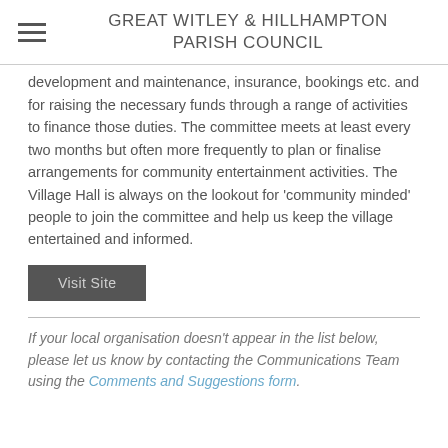GREAT WITLEY & HILLHAMPTON PARISH COUNCIL
development and maintenance, insurance, bookings etc. and for raising the necessary funds through a range of activities to finance those duties. The committee meets at least every two months but often more frequently to plan or finalise arrangements for community entertainment activities. The Village Hall is always on the lookout for 'community minded' people to join the committee and help us keep the village entertained and informed.
Visit Site
If your local organisation doesn't appear in the list below, please let us know by contacting the Communications Team using the Comments and Suggestions form.